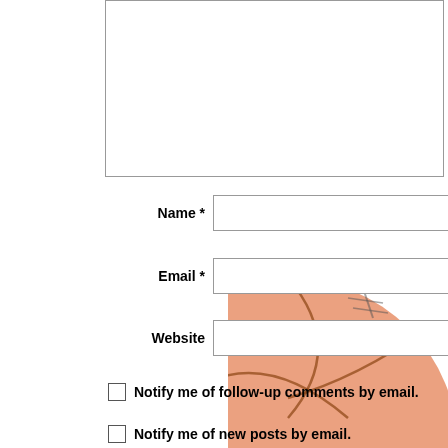[Figure (other): Partial comment textarea box at top of page, cropped]
Name *
Email *
Website
Notify me of follow-up comments by email.
Notify me of new posts by email.
[Figure (illustration): Basketball image in bottom-right corner, partially visible]